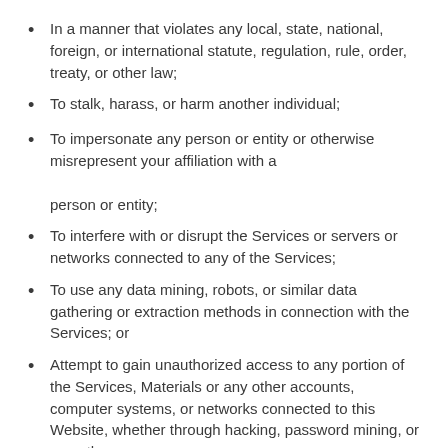In a manner that violates any local, state, national, foreign, or international statute, regulation, rule, order, treaty, or other law;
To stalk, harass, or harm another individual;
To impersonate any person or entity or otherwise misrepresent your affiliation with a person or entity;
To interfere with or disrupt the Services or servers or networks connected to any of the Services;
To use any data mining, robots, or similar data gathering or extraction methods in connection with the Services; or
Attempt to gain unauthorized access to any portion of the Services, Materials or any other accounts, computer systems, or networks connected to this Website, whether through hacking, password mining, or any other means.
You agree to hire attorneys to defend us if you violate